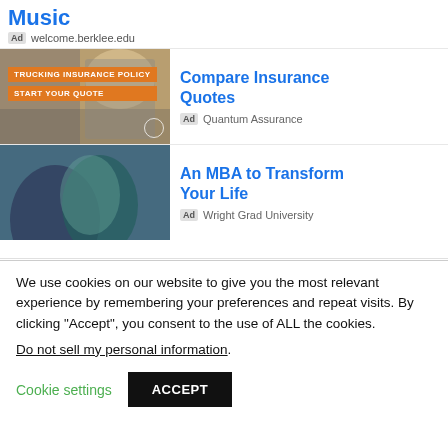Music
Ad  welcome.berklee.edu
[Figure (photo): Trucking advertisement with image of a man in a cap near a truck. Orange labels: 'TRUCKING INSURANCE POLICY' and 'START YOUR QUOTE']
Compare Insurance Quotes
Ad  Quantum Assurance
[Figure (photo): MBA advertisement with image of two people talking and smiling outdoors]
An MBA to Transform Your Life
Ad  Wright Grad University
We use cookies on our website to give you the most relevant experience by remembering your preferences and repeat visits. By clicking “Accept”, you consent to the use of ALL the cookies.
Do not sell my personal information.
Cookie settings   ACCEPT